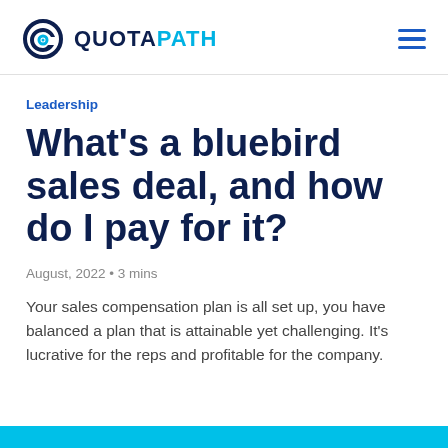QUOTAPATH
Leadership
What’s a bluebird sales deal, and how do I pay for it?
August, 2022 • 3 mins
Your sales compensation plan is all set up, you have balanced a plan that is attainable yet challenging. It’s lucrative for the reps and profitable for the company.